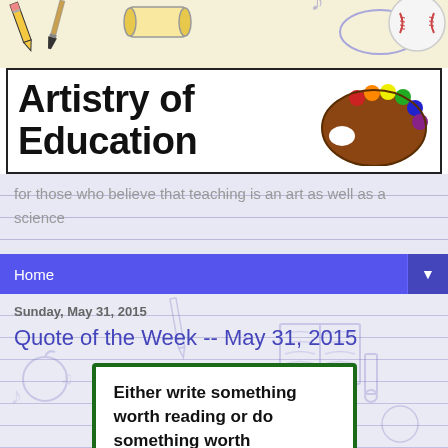[Figure (illustration): Top banner with hand-drawn doodles of school/art items on a beige/cream background]
Artistry of Education
[Figure (illustration): Artist paint palette with colorful dots (red, orange, yellow, green, blue, purple) on brown palette]
for those who believe that teaching is an art as well as a science
Home
Sunday, May 31, 2015
Quote of the Week -- May 31, 2015
[Figure (illustration): Quote card with dark green border on white background containing bold text: Either write something worth reading or do something worth]
Either write something worth reading or do something worth